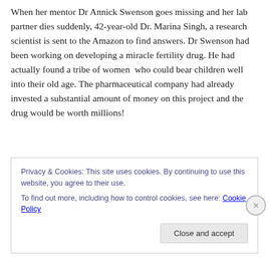When her mentor Dr Annick Swenson goes missing and her lab partner dies suddenly, 42-year-old Dr. Marina Singh, a research scientist is sent to the Amazon to find answers. Dr Swenson had been working on developing a miracle fertility drug. He had actually found a tribe of women  who could bear children well into their old age. The pharmaceutical company had already invested a substantial amount of money on this project and the drug would be worth millions!
Privacy & Cookies: This site uses cookies. By continuing to use this website, you agree to their use.
To find out more, including how to control cookies, see here: Cookie Policy
Close and accept